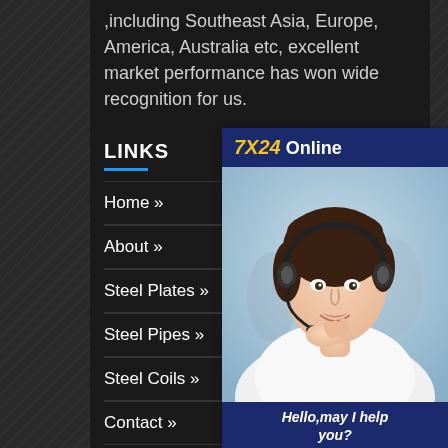,including Southeast Asia, Europe, America, Australia etc, excellent market performance has won wide recognition for us.
LINKS
Home »
About »
Steel Plates »
Steel Pipes »
Steel Coils »
Contact »
HOT NEWS
[Figure (photo): Customer service representative with headset smiling, 7X24 Online chat widget with 'Hello, may I help you?' and 'Get Latest Price' button]